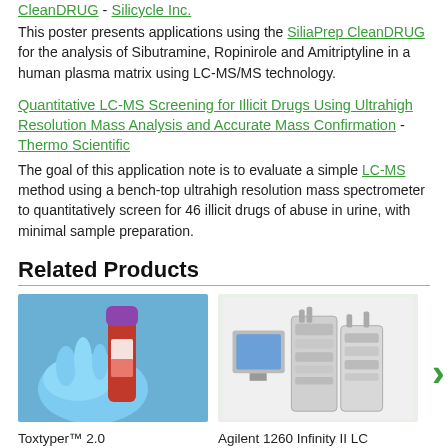CleanDRUG - Silicycle Inc.
This poster presents applications using the SiliaPrep CleanDRUG for the analysis of Sibutramine, Ropinirole and Amitriptyline in a human plasma matrix using LC-MS/MS technology.
Quantitative LC-MS Screening for Illicit Drugs Using Ultrahigh Resolution Mass Analysis and Accurate Mass Confirmation - Thermo Scientific
The goal of this application note is to evaluate a simple LC-MS method using a bench-top ultrahigh resolution mass spectrometer to quantitatively screen for 46 illicit drugs of abuse in urine, with minimal sample preparation.
Related Products
[Figure (photo): Photo of a blood collection tube held by a gloved hand against a blue background - Toxtyper 2.0 product image]
Toxtyper™ 2.0
[Figure (photo): Photo of an Agilent 1260 Infinity II LC System - laboratory instrument with stacked modules]
Agilent 1260 Infinity II LC System